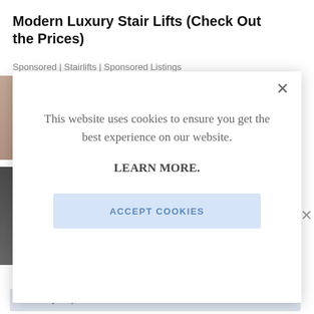Modern Luxury Stair Lifts (Check Out the Prices)
Sponsored | Stairlifts | Sponsored Listings
[Figure (screenshot): Cookie consent modal dialog on a webpage. The modal contains text 'This website uses cookies to ensure you get the best experience on our website.' followed by 'LEARN MORE.' in bold, and an 'ACCEPT COOKIES' button with light blue background. A close (×) button appears in the top right of the modal.]